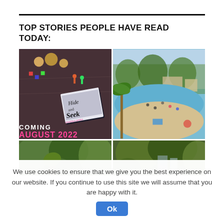TOP STORIES PEOPLE HAVE READ TODAY:
[Figure (photo): Book cover for 'Hide and Seek' by Andrea Mara with text 'Coming August 2022', surrounded by game pieces on a wooden surface]
[Figure (photo): Outdoor beach/pool area with people swimming, palm trees, and buildings in background]
[Figure (photo): Green trees/garden scene, bottom-left]
[Figure (photo): Green trees/garden scene, bottom-right]
We use cookies to ensure that we give you the best experience on our website. If you continue to use this site we will assume that you are happy with it.
Ok